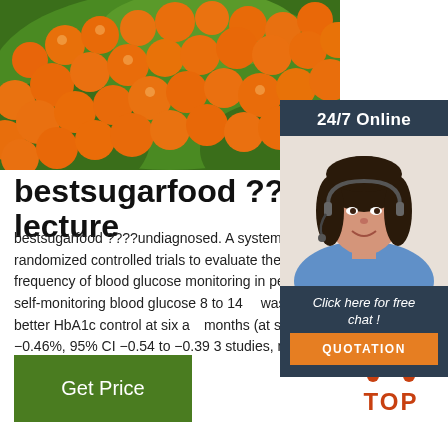[Figure (photo): Close-up photo of orange sea buckthorn berries on a branch with green leaves]
[Figure (photo): Customer service agent (woman with headset) and 24/7 Online chat widget with orange QUOTATION button]
bestsugarfood ????lecture
bestsugarfood ????undiagnosed. A systematic review of randomized controlled trials to evaluate the impact of frequency of blood glucose monitoring in people found that self-monitoring blood glucose 8 to 14 was associated with better HbA1c control at six a months (at six months, MD −0.46%, 95% CI −0.54 to −0.39 3 studies, n = 806) with moderate levels of ...
Get Price
[Figure (logo): TOP navigation icon with orange dots arranged in a triangle above the word TOP]